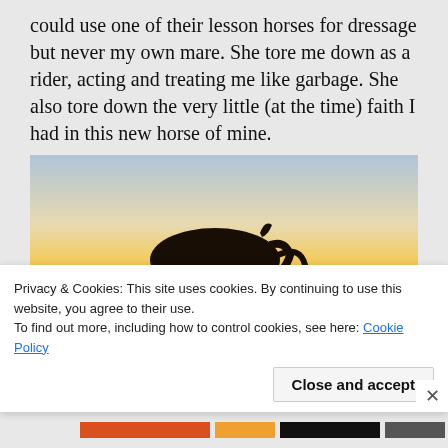could use one of their lesson horses for dressage but never my own mare. She tore me down as a rider, acting and treating me like garbage. She also tore down the very little (at the time) faith I had in this new horse of mine.
[Figure (photo): Silhouette of a horse grazing against a golden sunset sky, with a dog also visible on the ground. Open field landscape.]
Privacy & Cookies: This site uses cookies. By continuing to use this website, you agree to their use.
To find out more, including how to control cookies, see here: Cookie Policy